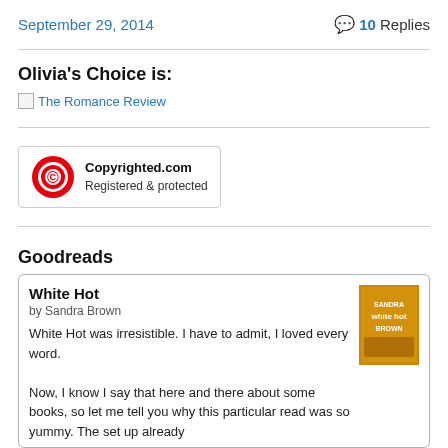September 29, 2014   💬 10 Replies
Olivia's Choice is:
The Romance Review
[Figure (logo): Copyrighted.com Registered & protected badge with red copyright symbol]
Goodreads
White Hot
by Sandra Brown
White Hot was irresistible. I have to admit, I loved every word.
Now, I know I say that here and there about some books, so let me tell you why this particular read was so yummy. The set up already